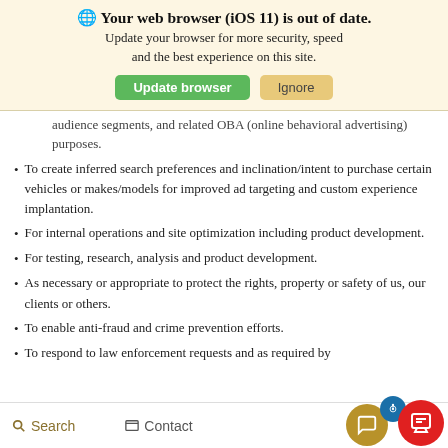[Figure (screenshot): Browser update banner for iOS 11 with 'Update browser' (green) and 'Ignore' (gold) buttons]
audience segments, and related OBA (online behavioral advertising) purposes.
To create inferred search preferences and inclination/intent to purchase certain vehicles or makes/models for improved ad targeting and custom experience implantation.
For internal operations and site optimization including product development.
For testing, research, analysis and product development.
As necessary or appropriate to protect the rights, property or safety of us, our clients or others.
To enable anti-fraud and crime prevention efforts.
To respond to law enforcement requests and as required by applicable law, court order...
Search   Contact